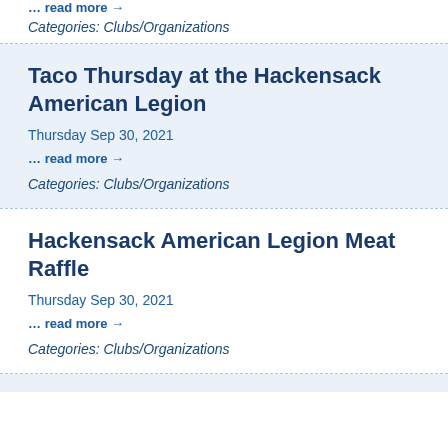... read more →
Categories: Clubs/Organizations
Taco Thursday at the Hackensack American Legion
Thursday Sep 30, 2021
... read more →
Categories: Clubs/Organizations
Hackensack American Legion Meat Raffle
Thursday Sep 30, 2021
... read more →
Categories: Clubs/Organizations